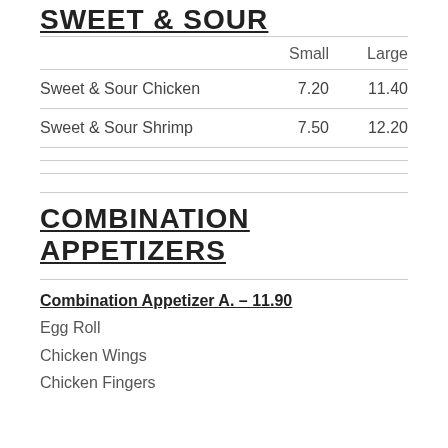SWEET & SOUR
|  | Small | Large |
| --- | --- | --- |
| Sweet & Sour Chicken | 7.20 | 11.40 |
| Sweet & Sour Shrimp | 7.50 | 12.20 |
COMBINATION APPETIZERS
Combination Appetizer A. – 11.90
Egg Roll
Chicken Wings
Chicken Fingers